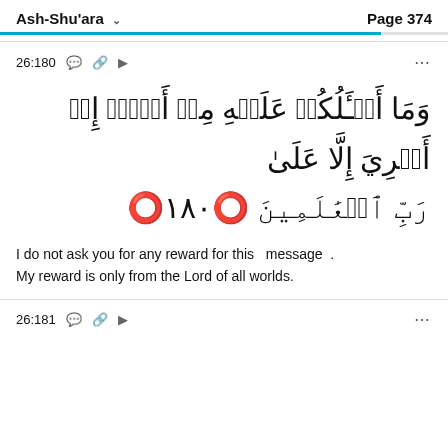Ash-Shu'ara   Page 374
26:180
وَمَا أَسۡـَٔلُكُمۡ عَلَيۡهِ مِنۡ أَجۡرٍۖ إِنۡ أَجۡرِيَ إِلَّا عَلَىٰ رَبِّ ٱلۡعَٰلَمِينَ ١٨٠
I do not ask you for any reward for this message . My reward is only from the Lord of all worlds.
26:181